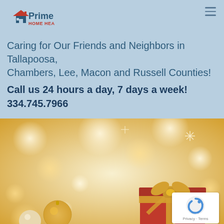[Figure (logo): Prime Home Health logo with house icon and red text]
Caring for Our Friends and Neighbors in Tallapoosa, Chambers, Lee, Macon and Russell Counties!
Call us 24 hours a day, 7 days a week! 334.745.7966
[Figure (photo): Holiday/Christmas themed photo with wrapped red gift box with gold bow, gold ornament balls, and bokeh light background in gold and white tones]